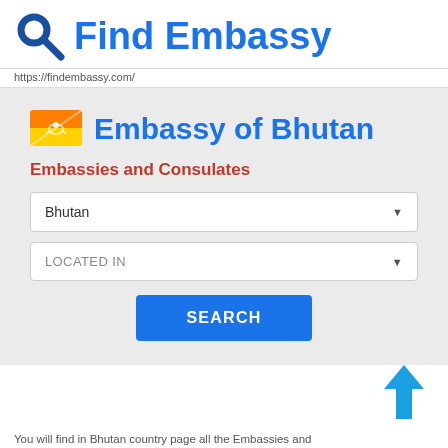Find Embassy
https://findembassy.com/
[Figure (screenshot): Embassy of Bhutan search page with Bhutan flag icon, dropdowns for country and location, and a SEARCH button]
You will find in Bhutan country page all the Embassies and Consulates of Bhutan around the world, besides all foreign